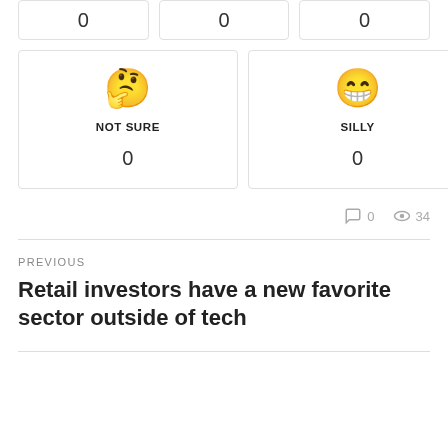[Figure (infographic): Three partial cards at the top each showing a count of 0]
[Figure (infographic): Two emoji reaction cards: NOT SURE (thinking face emoji, count 0) and SILLY (grinning face emoji, count 0)]
0   34
PREVIOUS
Retail investors have a new favorite sector outside of tech